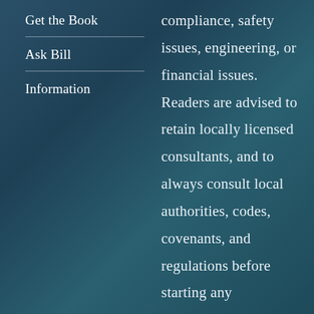Get the Book
Ask Bill
Information
compliance, safety issues, engineering, or financial issues. Readers are advised to retain locally licensed consultants, and to always consult local authorities, codes, covenants, and regulations before starting any construction project.